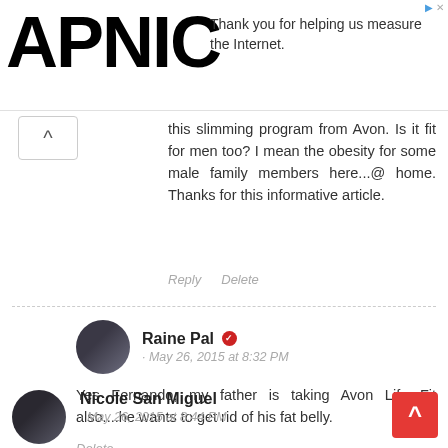[Figure (logo): APNIC logo in large bold black text on white background with advertisement text 'Thank you for helping us measure the Internet.']
this slimming program from Avon. Is it fit for men too? I mean the obesity for some male family members here...@ home. Thanks for this informative article.
Reply   Delete
Raine Pal · May 26, 2015 at 8:32 PM
Yes Fernando, my father is taking Avon Life Fit also....he wants to get rid of his fat belly.
Delete
Nicole San Miguel · May 26, 2015 at 8:44 PM